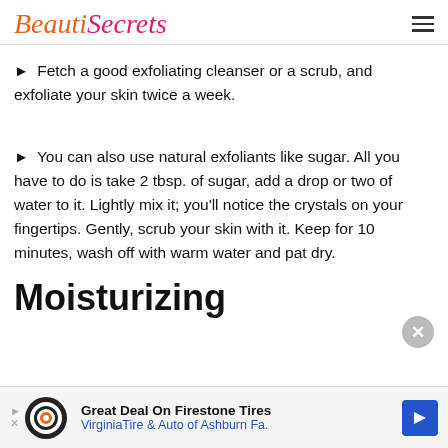BeautiSecrets
Fetch a good exfoliating cleanser or a scrub, and exfoliate your skin twice a week.
You can also use natural exfoliants like sugar. All you have to do is take 2 tbsp. of sugar, add a drop or two of water to it. Lightly mix it; you'll notice the crystals on your fingertips. Gently, scrub your skin with it. Keep for 10 minutes, wash off with warm water and pat dry.
Moisturizing
Great Deal On Firestone Tires VirginiaTire & Auto of Ashburn Fa.